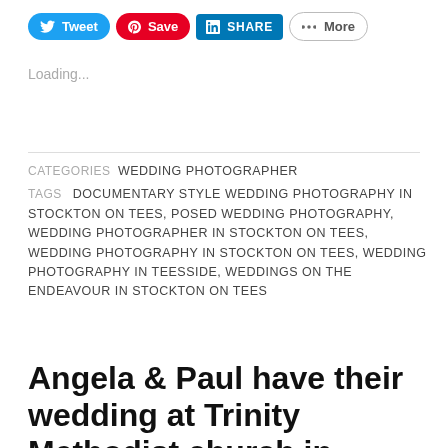[Figure (screenshot): Social share buttons: Tweet (Twitter, blue), Save (Pinterest, red), SHARE (LinkedIn, blue), More (grey outline)]
Loading...
CATEGORIES  WEDDING PHOTOGRAPHER
TAGS  DOCUMENTARY STYLE WEDDING PHOTOGRAPHY IN STOCKTON ON TEES, POSED WEDDING PHOTOGRAPHY, WEDDING PHOTOGRAPHER IN STOCKTON ON TEES, WEDDING PHOTOGRAPHY IN STOCKTON ON TEES, WEDDING PHOTOGRAPHY IN TEESSIDE, WEDDINGS ON THE ENDEAVOUR IN STOCKTON ON TEES
Angela & Paul have their wedding at Trinity Methodist church in